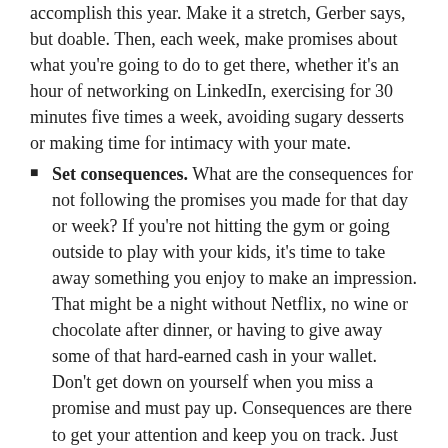accomplish this year. Make it a stretch, Gerber says, but doable. Then, each week, make promises about what you're going to do to get there, whether it's an hour of networking on LinkedIn, exercising for 30 minutes five times a week, avoiding sugary desserts or making time for intimacy with your mate.
Set consequences. What are the consequences for not following the promises you made for that day or week? If you're not hitting the gym or going outside to play with your kids, it's time to take away something you enjoy to make an impression. That might be a night without Netflix, no wine or chocolate after dinner, or having to give away some of that hard-earned cash in your wallet. Don't get down on yourself when you miss a promise and must pay up. Consequences are there to get your attention and keep you on track. Just keep stepping.
Plan your days. Schedule your days so that they include time for small steps that will move you toward